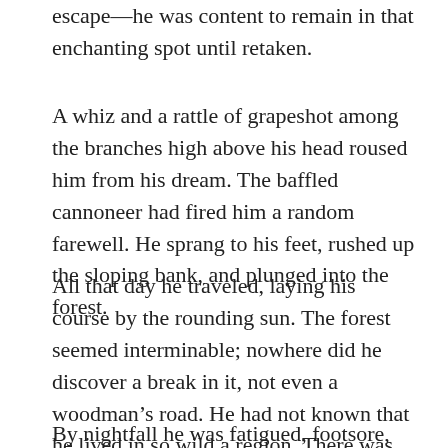escape—he was content to remain in that enchanting spot until retaken.
A whiz and a rattle of grapeshot among the branches high above his head roused him from his dream. The baffled cannoneer had fired him a random farewell. He sprang to his feet, rushed up the sloping bank, and plunged into the forest.
All that day he traveled, laying his course by the rounding sun. The forest seemed interminable; nowhere did he discover a break in it, not even a woodman's road. He had not known that he lived in so wild a region. There was something uncanny in the revelation.
By nightfall he was fatigued, footsore, famished. The thought of his wife and children urged him